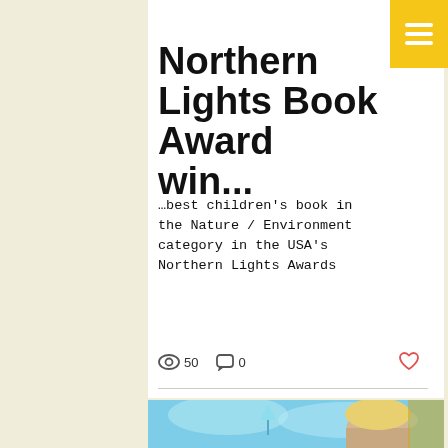Oct 21, 2019 · 1 min
Northern Lights Book Award win...
…best children's book in the Nature / Environment category in the USA's Northern Lights Awards
50  0
[Figure (photo): Photo of a person (blonde woman) in front of a colorful illustration/poster featuring a cartoon superhero character flying over blue/turquoise background]